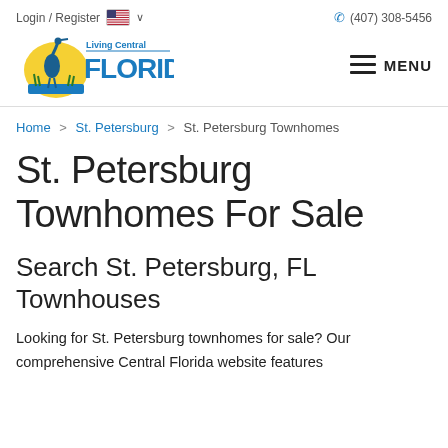Login / Register  🇺🇸 ∨    (407) 308-5456
[Figure (logo): Living Central Florida logo with heron bird and sun graphic, blue text reading FLORIDA]
MENU
Home > St. Petersburg > St. Petersburg Townhomes
St. Petersburg Townhomes For Sale
Search St. Petersburg, FL Townhouses
Looking for St. Petersburg townhomes for sale? Our comprehensive Central Florida website features